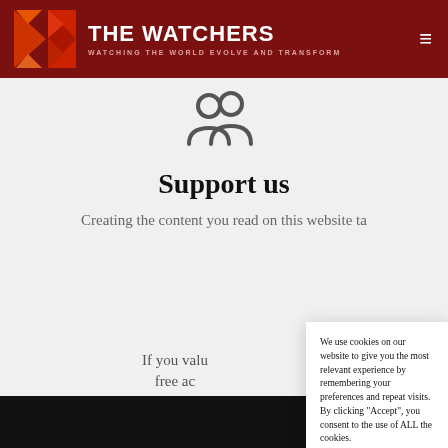THE WATCHERS — WATCHING THE WORLD EVOLVE AND TRANSFORM
[Figure (illustration): Users/people icon (two person silhouettes outline)]
Support us
Creating the content you read on this website ta[kes time and effort]
If you valu[e our work, consider supporting us to keep free ac]cess...
We use cookies on our website to give you the most relevant experience by remembering your preferences and repeat visits. By clicking “Accept”, you consent to the use of ALL the cookies.
Do not sell my personal information.